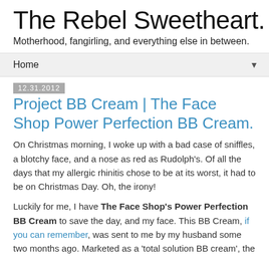The Rebel Sweetheart.
Motherhood, fangirling, and everything else in between.
Home ▼
12.31.2012
Project BB Cream | The Face Shop Power Perfection BB Cream.
On Christmas morning, I woke up with a bad case of sniffles, a blotchy face, and a nose as red as Rudolph's. Of all the days that my allergic rhinitis chose to be at its worst, it had to be on Christmas Day. Oh, the irony!
Luckily for me, I have The Face Shop's Power Perfection BB Cream to save the day, and my face. This BB Cream, if you can remember, was sent to me by my husband some two months ago. Marketed as a 'total solution BB cream', the